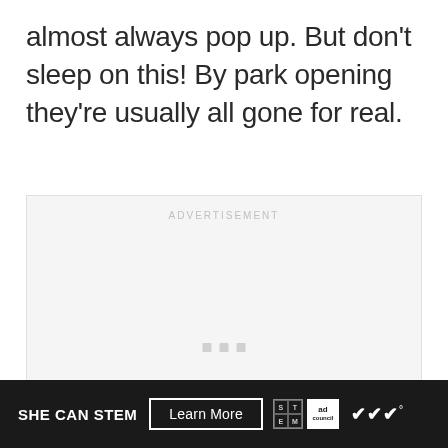almost always pop up. But don't sleep on this! By park opening they're usually all gone for real.
[Figure (other): Advertisement placeholder box with 'ADVERTISEMENT' label at top and three small square dots in the center-lower area.]
[Figure (other): Dark footer banner ad: 'SHE CAN STEM' text, 'Learn More' button, STEM logo grid, Ad Council logo, and WW degree symbol logo.]